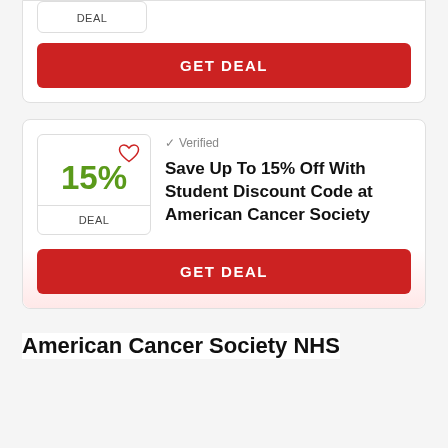[Figure (screenshot): Partial deal card showing DEAL badge and GET DEAL button at top of page]
DEAL
GET DEAL
[Figure (screenshot): Deal card showing 15% discount with heart icon, Verified checkmark, offer title, DEAL badge, and GET DEAL button]
✓ Verified
Save Up To 15% Off With Student Discount Code at American Cancer Society
DEAL
GET DEAL
American Cancer Society NHS